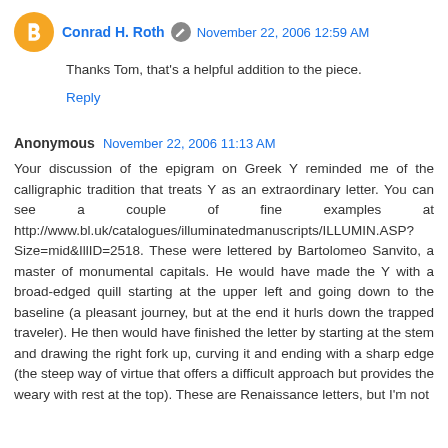Conrad H. Roth  November 22, 2006 12:59 AM
Thanks Tom, that's a helpful addition to the piece.
Reply
Anonymous  November 22, 2006 11:13 AM
Your discussion of the epigram on Greek Y reminded me of the calligraphic tradition that treats Y as an extraordinary letter. You can see a couple of fine examples at http://www.bl.uk/catalogues/illuminatedmanuscripts/ILLUMIN.ASP?Size=mid&IllID=2518. These were lettered by Bartolomeo Sanvito, a master of monumental capitals. He would have made the Y with a broad-edged quill starting at the upper left and going down to the baseline (a pleasant journey, but at the end it hurls down the trapped traveler). He then would have finished the letter by starting at the stem and drawing the right fork up, curving it and ending with a sharp edge (the steep way of virtue that offers a difficult approach but provides the weary with rest at the top). These are Renaissance letters, but I'm not